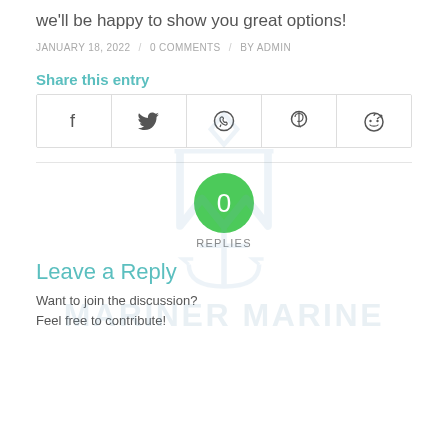we'll be happy to show you great options!
JANUARY 18, 2022 / 0 COMMENTS / BY ADMIN
Share this entry
[Figure (other): Social share icons row: Facebook, Twitter, WhatsApp, Pinterest, Reddit]
[Figure (logo): Mariner Marine watermark logo with anchor and text 'MARINER MARINE']
0 REPLIES
Leave a Reply
Want to join the discussion?
Feel free to contribute!